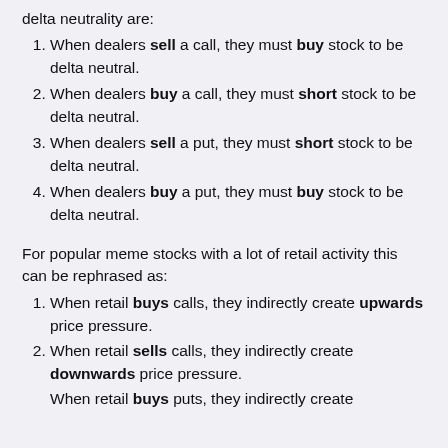delta neutrality are:
When dealers sell a call, they must buy stock to be delta neutral.
When dealers buy a call, they must short stock to be delta neutral.
When dealers sell a put, they must short stock to be delta neutral.
When dealers buy a put, they must buy stock to be delta neutral.
For popular meme stocks with a lot of retail activity this can be rephrased as:
When retail buys calls, they indirectly create upwards price pressure.
When retail sells calls, they indirectly create downwards price pressure.
When retail buys puts, they indirectly create...